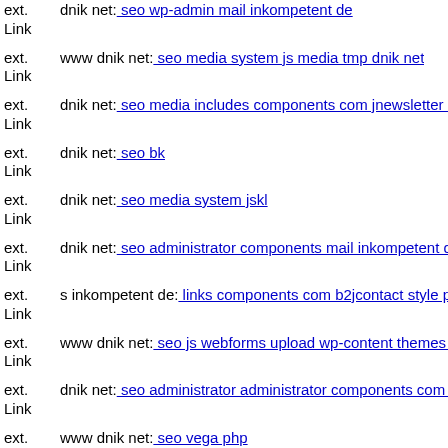ext. Link dnik net: seo wp-admin mail inkompetent de
ext. Link www dnik net: seo media system js media tmp dnik net
ext. Link dnik net: seo media includes components com jnewsletter inclu...
ext. Link dnik net: seo bk
ext. Link dnik net: seo media system jskl
ext. Link dnik net: seo administrator components mail inkompetent de
ext. Link s inkompetent de: links components com b2jcontact style php
ext. Link www dnik net: seo js webforms upload wp-content themes age...
ext. Link dnik net: seo administrator administrator components com jnew...
ext. Link www dnik net: seo vega php
ext. Link dnik net: seo administrator components com alphacontent asset...
ext. Link mail inkompetent de: links components com b2jcontact comp...